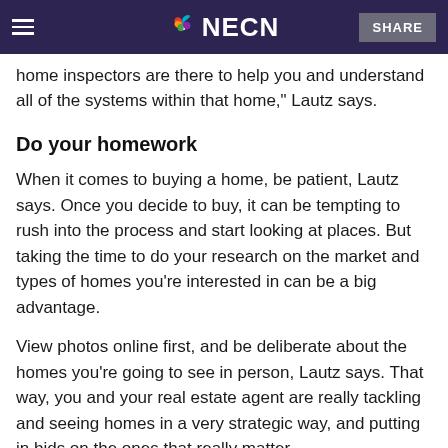NECN
home inspectors are there to help you and understand all of the systems within that home," Lautz says.
Do your homework
When it comes to buying a home, be patient, Lautz says. Once you decide to buy, it can be tempting to rush into the process and start looking at places. But taking the time to do your research on the market and types of homes you're interested in can be a big advantage.
View photos online first, and be deliberate about the homes you're going to see in person, Lautz says. That way, you and your real estate agent are really tackling and seeing homes in a very strategic way, and putting in bids on the ones that really matter.